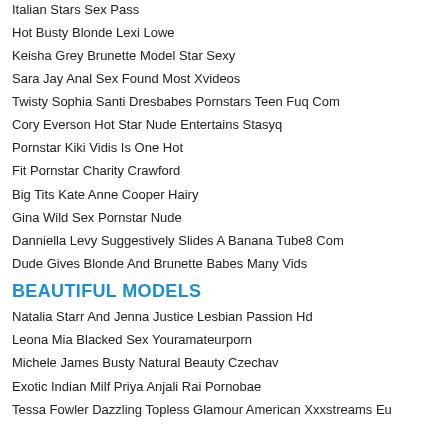Italian Stars Sex Pass
Hot Busty Blonde Lexi Lowe
Keisha Grey Brunette Model Star Sexy
Sara Jay Anal Sex Found Most Xvideos
Twisty Sophia Santi Dresbabes Pornstars Teen Fuq Com
Cory Everson Hot Star Nude Entertains Stasyq
Pornstar Kiki Vidis Is One Hot
Fit Pornstar Charity Crawford
Big Tits Kate Anne Cooper Hairy
Gina Wild Sex Pornstar Nude
Danniella Levy Suggestively Slides A Banana Tube8 Com
Dude Gives Blonde And Brunette Babes Many Vids
BEAUTIFUL MODELS
Natalia Starr And Jenna Justice Lesbian Passion Hd
Leona Mia Blacked Sex Youramateurporn
Michele James Busty Natural Beauty Czechav
Exotic Indian Milf Priya Anjali Rai Pornobae
Tessa Fowler Dazzling Topless Glamour American Xxxstreams Eu